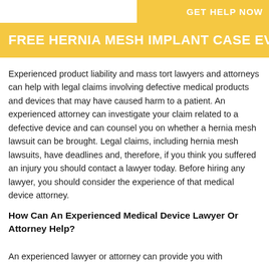GET HELP NOW
FREE HERNIA MESH IMPLANT CASE EVAL
Experienced product liability and mass tort lawyers and attorneys can help with legal claims involving defective medical products and devices that may have caused harm to a patient. An experienced attorney can investigate your claim related to a defective device and can counsel you on whether a hernia mesh lawsuit can be brought. Legal claims, including hernia mesh lawsuits, have deadlines and, therefore, if you think you suffered an injury you should contact a lawyer today. Before hiring any lawyer, you should consider the experience of that medical device attorney.
How Can An Experienced Medical Device Lawyer Or Attorney Help?
An experienced lawyer or attorney can provide you with